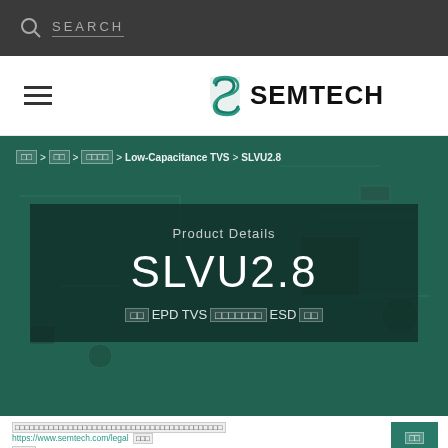SEARCH
[Figure (logo): Semtech company logo with stylized S mark and SEMTECH wordmark]
□□ > □□ > □□□□ > Low-Capacitance TVS > SLVU2.8
Product Details
SLVU2.8
□□ EPD TVS □□□□□□□ ESD □□
□□□□□□□□□□□□□□□□□□□□□□□□□□□□□□□□□□□□□□□□□□□□ https://www.semtech.com/legal □□□
□□□□ Cookie□□□□□□□□□□□□□□□□□□□□□□□□□□□□□□□□□□□□□□□□□□□□□□□□□□□□□□□□□□□□□□□□□□□□□□□□□□□□□□□□□□□□□□□□□□